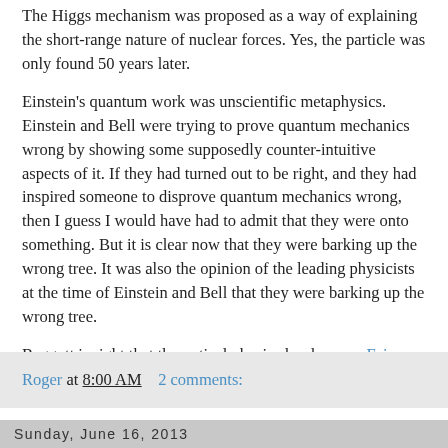The Higgs mechanism was proposed as a way of explaining the short-range nature of nuclear forces. Yes, the particle was only found 50 years later.
Einstein's quantum work was unscientific metaphysics. Einstein and Bell were trying to prove quantum mechanics wrong by showing some supposedly counter-intuitive aspects of it. If they had turned out to be right, and they had inspired someone to disprove quantum mechanics wrong, then I guess I would have had to admit that they were onto something. But it is clear now that they were barking up the wrong tree. It was also the opinion of the leading physicists at the time of Einstein and Bell that they were barking up the wrong tree.
Baggott is right that theoretical physics has become Fairy Tale Physics, as explained in this podcast or my book.
Roger at 8:00 AM    2 comments:
Sunday, June 16, 2013